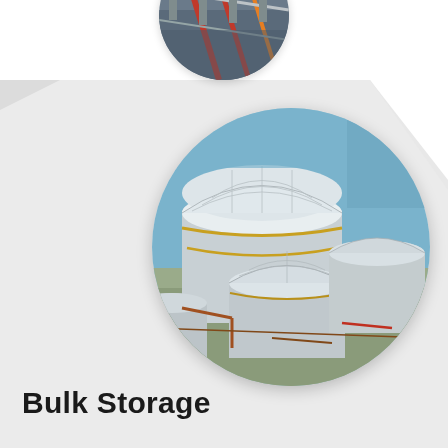[Figure (photo): Partial circular photo at top of page showing industrial equipment with red/orange structural components against a blue sky.]
[Figure (photo): Circular photo showing aerial/elevated view of large white industrial bulk storage tanks with domed tops at a petrochemical or oil storage facility, with pipework visible around them.]
Bulk Storage